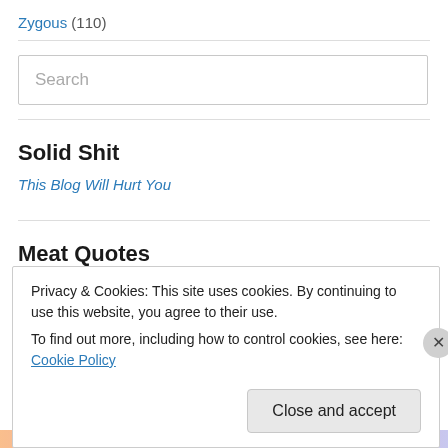Zygous (110)
Search
Solid Shit
This Blog Will Hurt You
Meat Quotes
Privacy & Cookies: This site uses cookies. By continuing to use this website, you agree to their use.
To find out more, including how to control cookies, see here: Cookie Policy
Close and accept